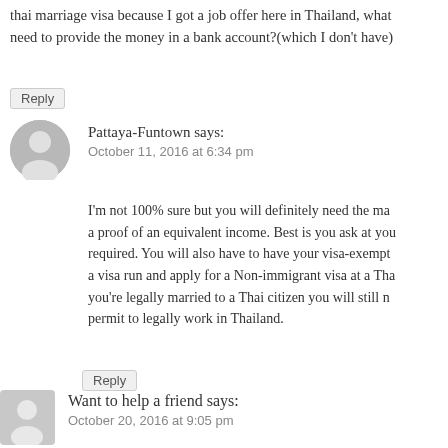thai marriage visa because I got a job offer here in Thailand, what need to provide the money in a bank account?(which I don't have)
Reply
Pattaya-Funtown says:
October 11, 2016 at 6:34 pm
I'm not 100% sure but you will definitely need the ma... a proof of an equivalent income. Best is you ask at you required. You will also have to have your visa-exempt... a visa run and apply for a Non-immigrant visa at a Tha... you're legally married to a Thai citizen you will still n... permit to legally work in Thailand.
Reply
Want to help a friend says:
October 20, 2016 at 9:05 pm
Anyone can give me information about the situation if a Thai man same rules, cause I heard that there are different rules, if the foreig Thailand but got the Philippines citizenship (children are from Ph